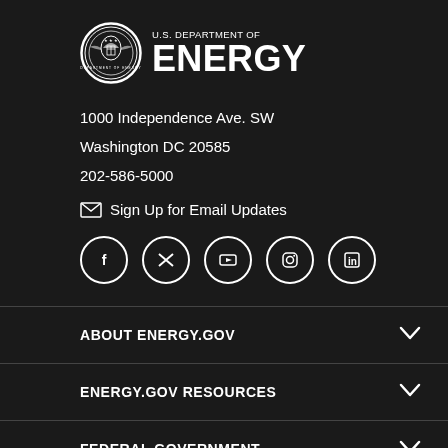[Figure (logo): U.S. Department of Energy seal and wordmark logo. Circular seal on left, text 'U.S. DEPARTMENT OF' above large bold 'ENERGY' on right.]
1000 Independence Ave. SW
Washington DC 20585
202-586-5000
✉ Sign Up for Email Updates
[Figure (infographic): Row of five social media icons in white circles: Facebook, Twitter/X, YouTube, Instagram, LinkedIn]
ABOUT ENERGY.GOV
ENERGY.GOV RESOURCES
FEDERAL GOVERNMENT